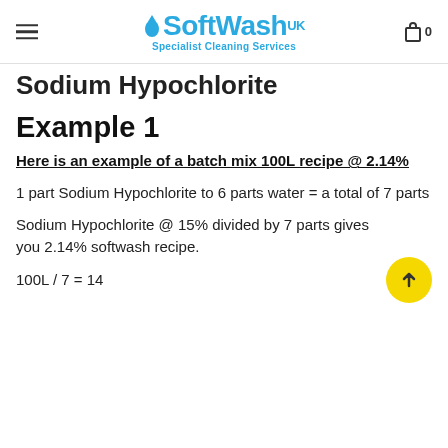SoftWash UK – Specialist Cleaning Services
Sodium Hypochlorite
Example 1
Here is an example of a batch mix 100L recipe @ 2.14%
1 part Sodium Hypochlorite to 6 parts water = a total of 7 parts
Sodium Hypochlorite @ 15% divided by 7 parts gives you 2.14% softwash recipe.
100L / 7 = 14